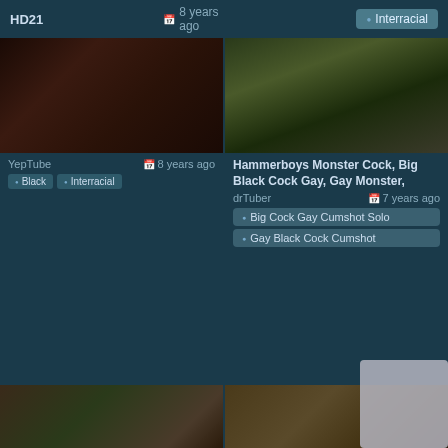HD21
8 years ago
Interracial
[Figure (photo): Adult content thumbnail - left card top]
YepTube
8 years ago
Black
Interracial
[Figure (photo): Adult content thumbnail - right card top]
Hammerboys Monster Cock, Big Black Cock Gay, Gay Monster,
drTuber
7 years ago
Big Cock Gay Cumshot Solo
Gay Black Cock Cumshot
[Figure (photo): Adult content thumbnail - bottom left partial]
[Figure (photo): Adult content thumbnail - bottom right partial]